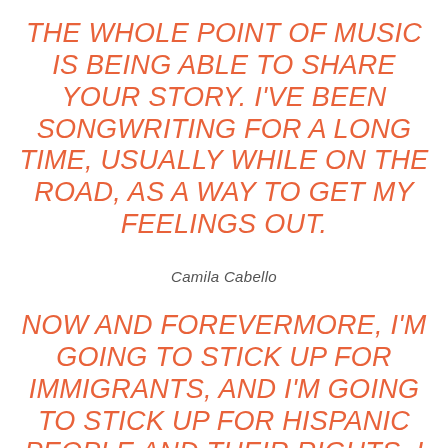THE WHOLE POINT OF MUSIC IS BEING ABLE TO SHARE YOUR STORY. I'VE BEEN SONGWRITING FOR A LONG TIME, USUALLY WHILE ON THE ROAD, AS A WAY TO GET MY FEELINGS OUT.
Camila Cabello
NOW AND FOREVERMORE, I'M GOING TO STICK UP FOR IMMIGRANTS, AND I'M GOING TO STICK UP FOR HISPANIC PEOPLE AND THEIR RIGHTS. I FEEL LIKE THAT'S JUST MY JOB.